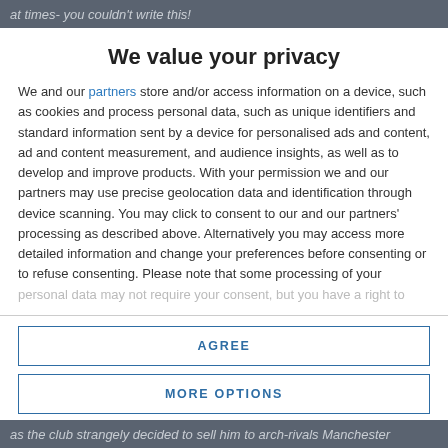at times- you couldn't write this!
We value your privacy
We and our partners store and/or access information on a device, such as cookies and process personal data, such as unique identifiers and standard information sent by a device for personalised ads and content, ad and content measurement, and audience insights, as well as to develop and improve products. With your permission we and our partners may use precise geolocation data and identification through device scanning. You may click to consent to our and our partners' processing as described above. Alternatively you may access more detailed information and change your preferences before consenting or to refuse consenting. Please note that some processing of your personal data may not require your consent, but you have a right to
AGREE
MORE OPTIONS
as the club strangely decided to sell him to arch-rivals Manchester